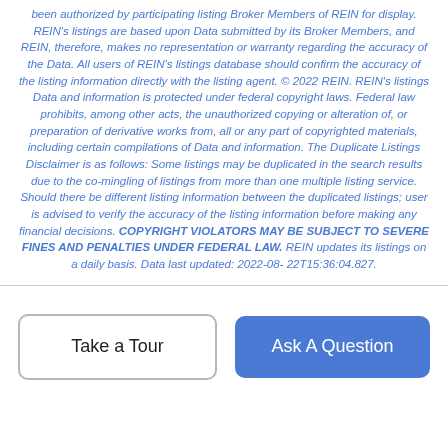been authorized by participating listing Broker Members of REIN for display. REIN's listings are based upon Data submitted by its Broker Members, and REIN, therefore, makes no representation or warranty regarding the accuracy of the Data. All users of REIN's listings database should confirm the accuracy of the listing information directly with the listing agent. © 2022 REIN. REIN's listings Data and information is protected under federal copyright laws. Federal law prohibits, among other acts, the unauthorized copying or alteration of, or preparation of derivative works from, all or any part of copyrighted materials, including certain compilations of Data and information. The Duplicate Listings Disclaimer is as follows: Some listings may be duplicated in the search results due to the co-mingling of listings from more than one multiple listing service. Should there be different listing information between the duplicated listings; user is advised to verify the accuracy of the listing information before making any financial decisions. COPYRIGHT VIOLATORS MAY BE SUBJECT TO SEVERE FINES AND PENALTIES UNDER FEDERAL LAW. REIN updates its listings on a daily basis. Data last updated: 2022-08-22T15:36:04.827.
Take a Tour
Ask A Question